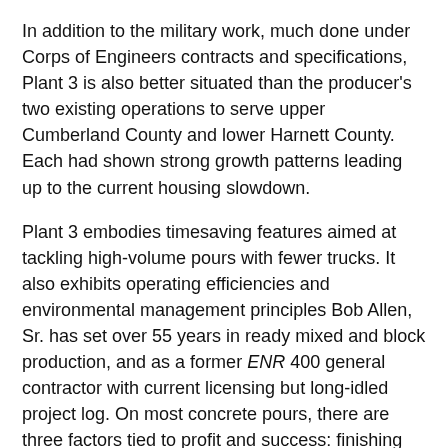In addition to the military work, much done under Corps of Engineers contracts and specifications, Plant 3 is also better situated than the producer's two existing operations to serve upper Cumberland County and lower Harnett County. Each had shown strong growth patterns leading up to the current housing slowdown.
Plant 3 embodies timesaving features aimed at tackling high-volume pours with fewer trucks. It also exhibits operating efficiencies and environmental management principles Bob Allen, Sr. has set over 55 years in ready mixed and block production, and as a former ENR 400 general contractor with current licensing but long-idled project log. On most concrete pours, there are three factors tied to profit and success: finishing rate, number of trucks, and plant capability, he says. Two of those things we can control.
The new operation runs a (Maximum Output) MO Big EZ model of Georgia-based Merts Inc. It parlayed speedy transit mixed plants in Florida where, like other markets, the quest for